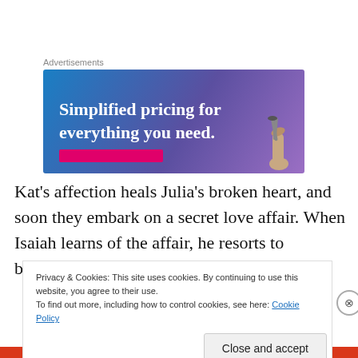Advertisements
[Figure (illustration): Advertisement banner with gradient blue-purple background, white bold text reading 'Simplified pricing for everything you need.', a pink/magenta button bar at the bottom left, and a hand holding glasses at the bottom right.]
Kat's affection heals Julia's broken heart, and soon they embark on a secret love affair. When Isaiah learns of the affair, he resorts to blackmail and threats to claim Julia as
Privacy & Cookies: This site uses cookies. By continuing to use this website, you agree to their use.
To find out more, including how to control cookies, see here: Cookie Policy
Close and accept